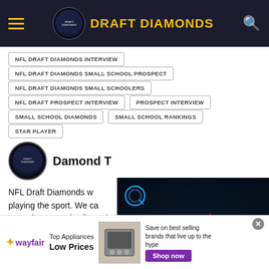DRAFT DIAMONDS
NFL DRAFT DIAMONDS INTERVIEW
NFL DRAFT DIAMONDS SMALL SCHOOL PROSPECT
NFL DRAFT DIAMONDS SMALL SCHOOLERS
NFL DRAFT PROSPECT INTERVIEW
PROSPECT INTERVIEW
SMALL SCHOOL DIAMONDS
SMALL SCHOOL RANKINGS
STAR PLAYER
Damond T
[Figure (screenshot): Video player overlay with blue play icons on dark background]
NFL Draft Diamonds w... playing the sport. We ca... name is Damond Talbot. I have worked extremely hard to
[Figure (infographic): Wayfair advertisement banner: Top Appliances Low Prices, Save on best selling brands that live up to the hype, Shop now button]